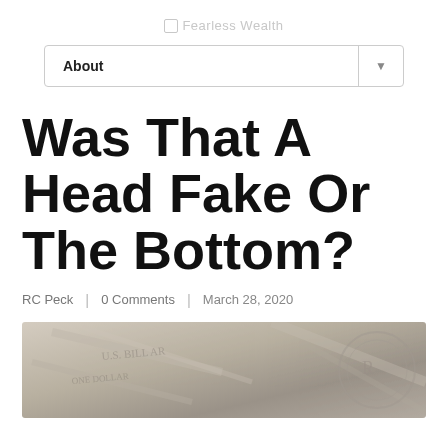Fearless Wealth
[Figure (screenshot): Navigation dropdown menu showing 'About' label with arrow]
Was That A Head Fake Or The Bottom?
RC Peck | 0 Comments | March 28, 2020
[Figure (photo): Grayscale photo of US dollar bills]